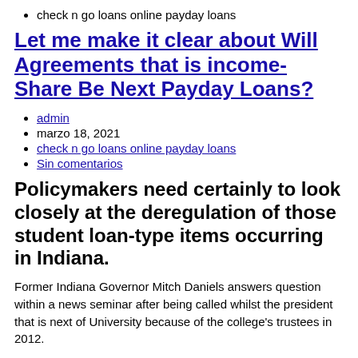check n go loans online payday loans
Let me make it clear about Will Agreements that is income-Share Be Next Payday Loans?
admin
marzo 18, 2021
check n go loans online payday loans
Sin comentarios
Policymakers need certainly to look closely at the deregulation of those student loan-type items occurring in Indiana.
Former Indiana Governor Mitch Daniels answers question within a news seminar after being called whilst the president that is next of University because of the college's trustees in 2012.